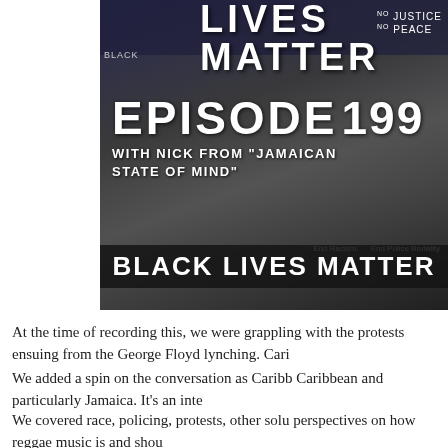[Figure (photo): Black Lives Matter protest photo with overlay text: 'EPISODE 199 WITH NICK FROM JAMAICAN STATE OF MIND' and 'BLACK LIVES MATTER' banner at bottom. Signs visible including 'No Justice No Peace'.]
At the time of recording this, we were grappling with the protests ensuing from the George Floyd lynching. Cari...
We added a spin on the conversation as Caribb... Caribbean and particularly Jamaica. It's an inte...
We covered race, policing, protests, other solu... perspectives on how reggae music is and shou...